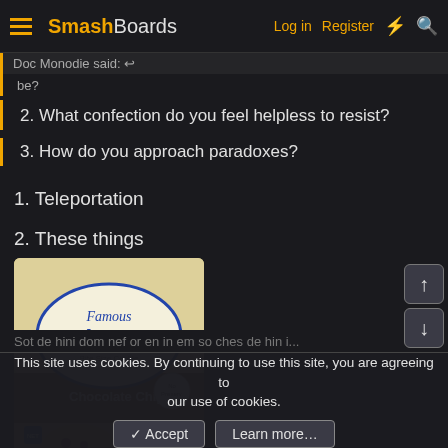SmashBoards — Log in  Register
Doc Monodie said:
2. What confection do you feel helpless to resist?
3. How do you approach paradoxes?
1. Teleportation
2. These things
[Figure (photo): Package of Famous Amos Bite Size Chocolate Chip cookies]
Cookie consent notification: This site uses cookies. By continuing to use this site, you are agreeing to our use of cookies.